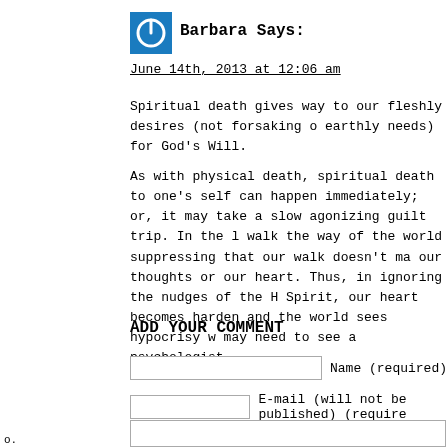[Figure (logo): Blue square icon with a white power symbol]
Barbara Says:
June 14th, 2013 at 12:06 am
Spiritual death gives way to our fleshly desires (not forsaking our earthly needs) for God's Will.
As with physical death, spiritual death to one's self can happen immediately; or, it may take a slow agonizing guilt trip. In the l walk the way of the world suppressing that our walk doesn't ma our thoughts or our heart. Thus, in ignoring the nudges of the H Spirit, our heart becomes harden and the world sees hypocrisy w may need to see a psychologist,
ADD YOUR COMMENT
Name (required)
E-mail (will not be published) (require